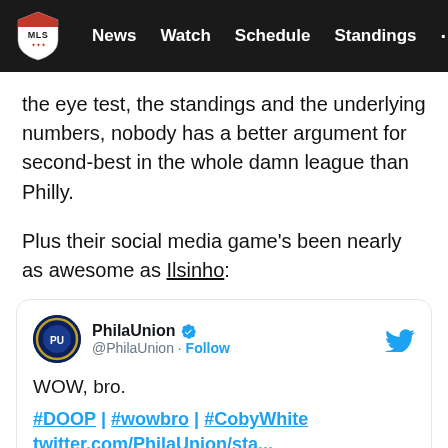MLS — News  Watch  Schedule  Standings  ...
the eye test, the standings and the underlying numbers, nobody has a better argument for second-best in the whole damn league than Philly.
Plus their social media game's been nearly as awesome as Ilsinho:
[Figure (screenshot): Embedded tweet from @PhilaUnion with verified badge and Twitter bird icon. Tweet text: 'WOW, bro.' followed by '#DOOP | #wowbro | #CobyWhite twitter.com/PhilaUnion/sta...']